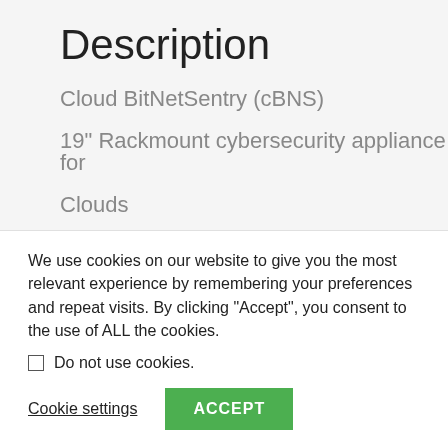Description
Cloud BitNetSentry (cBNS)
19" Rackmount cybersecurity appliance for
Clouds
Data centers
Disaster recovery sites
We use cookies on our website to give you the most relevant experience by remembering your preferences and repeat visits. By clicking "Accept", you consent to the use of ALL the cookies.
Do not use cookies.
Cookie settings
ACCEPT